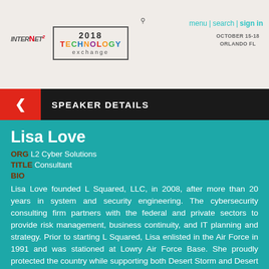Internet2 2018 Technology Exchange — menu | search | sign in — October 15-18, Orlando FL
SPEAKER DETAILS
Lisa Love
ORG L2 Cyber Solutions
TITLE Consultant
BIO
Lisa Love founded L Squared, LLC, in 2008, after more than 20 years in system and security engineering. The cybersecurity consulting firm partners with the federal and private sectors to provide risk management, business continuity, and IT planning and strategy. Prior to starting L Squared, Lisa enlisted in the Air Force in 1991 and was stationed at Lowry Air Force Base. She proudly protected the country while supporting both Desert Storm and Desert Shield as a Transportation Specialist for her first four years of active duty. After Lowry closed, Lisa joined the Colorado Air National Guard as a Space & Missile Warning Operator. After seven years serving in the armed forces, Lisa continued her commitment to protection and safety, spending